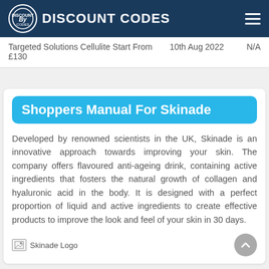DISCOUNT CODES
| Targeted Solutions Cellulite Start From £130 | 10th Aug 2022 | N/A |
Shoppers Manual For Skinade
Developed by renowned scientists in the UK, Skinade is an innovative approach towards improving your skin. The company offers flavoured anti-ageing drink, containing active ingredients that fosters the natural growth of collagen and hyaluronic acid in the body. It is designed with a perfect proportion of liquid and active ingredients to create effective products to improve the look and feel of your skin in 30 days.
[Figure (logo): Skinade Logo placeholder image with broken image icon]